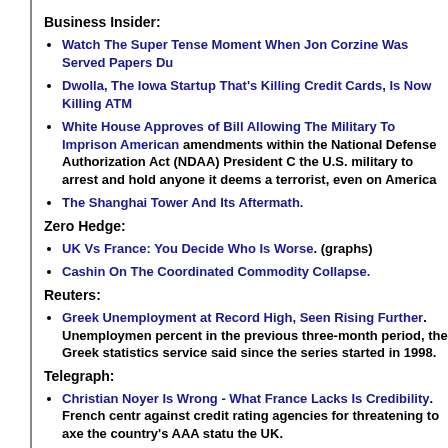Business Insider:
Watch The Super Tense Moment When Jon Corzine Was Served Papers Du
Dwolla, The Iowa Startup That's Killing Credit Cards, Is Now Killing ATM
White House Approves of Bill Allowing The Military To Imprison American amendments within the National Defense Authorization Act (NDAA) President C the U.S. military to arrest and hold anyone it deems a terrorist, even on America
The Shanghai Tower And Its Aftermath.
Zero Hedge:
UK Vs France: You Decide Who Is Worse. (graphs)
Cashin On The Coordinated Commodity Collapse.
Reuters:
Greek Unemployment at Record High, Seen Rising Further. Unemployment percent in the previous three-month period, the Greek statistics service said since the series started in 1998.
Telegraph:
Christian Noyer Is Wrong - What France Lacks Is Credibility. French centr against credit rating agencies for threatening to axe the country's AAA statu the UK.